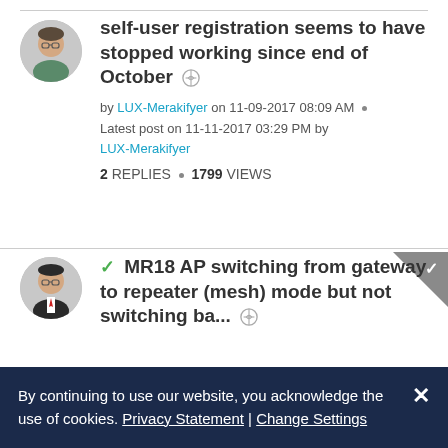self-user registration seems to have stopped working since end of October
by LUX-Merakifyer on 11-09-2017 08:09 AM · Latest post on 11-11-2017 03:29 PM by LUX-Merakifyer
2 REPLIES · 1799 VIEWS
✓ MR18 AP switching from gateway to repeater (mesh) mode but not switching ba...
By continuing to use our website, you acknowledge the use of cookies. Privacy Statement | Change Settings